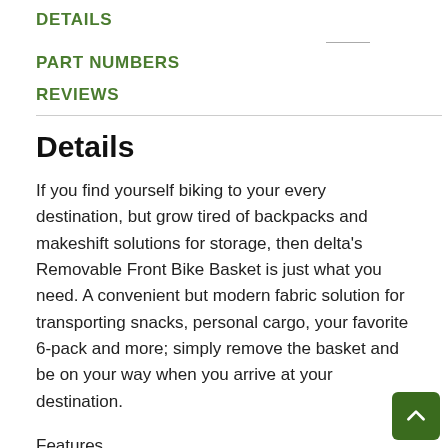DETAILS
PART NUMBERS
REVIEWS
Details
If you find yourself biking to your every destination, but grow tired of backpacks and makeshift solutions for storage, then delta's Removable Front Bike Basket is just what you need. A convenient but modern fabric solution for transporting snacks, personal cargo, your favorite 6-pack and more; simply remove the basket and be on your way when you arrive at your destination.
Features
- Original Design: Whether you are a commuter or hobby cyclist, now you can focus on enjoying the ride